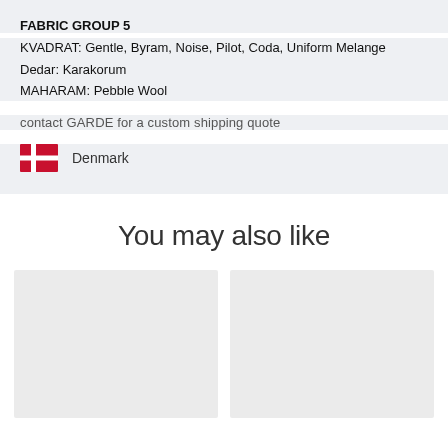FABRIC GROUP 5
KVADRAT: Gentle, Byram, Noise, Pilot, Coda, Uniform Melange
Dedar: Karakorum
MAHARAM: Pebble Wool
contact GARDE for a custom shipping quote
[Figure (illustration): Danish flag icon (red with white cross) followed by text 'Denmark']
You may also like
[Figure (photo): Product image placeholder (light gray rectangle, left)]
[Figure (photo): Product image placeholder (light gray rectangle, right)]